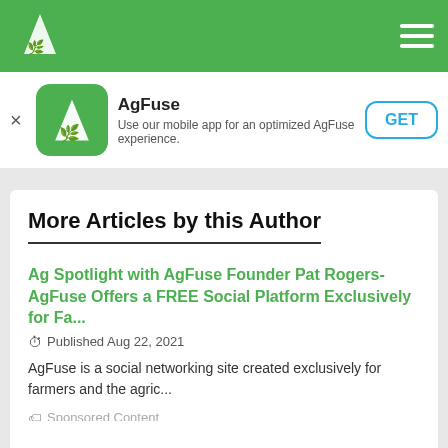AgFuse navigation bar with logo and hamburger menu
[Figure (screenshot): AgFuse app download banner with green logo icon, app name, description and GET button]
More Articles by this Author
Ag Spotlight with AgFuse Founder Pat Rogers- AgFuse Offers a FREE Social Platform Exclusively for Fa...
Published Aug 22, 2021
AgFuse is a social networking site created exclusively for farmers and the agric...
Sponsored Content
See More